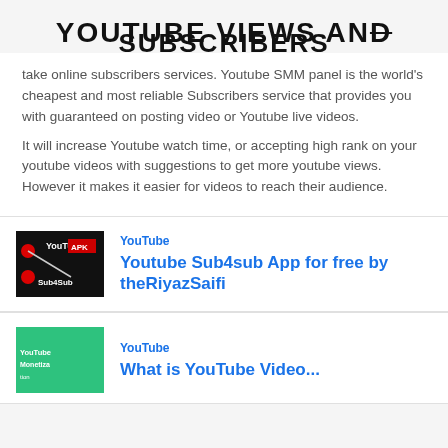YOUTUBE VIEWS AND SUBSCRIBERS
take online subscribers services. Youtube SMM panel is the world's cheapest and most reliable Subscribers service that provides you with guaranteed on posting video or Youtube live videos.
It will increase Youtube watch time, or accepting high rank on your youtube videos with suggestions to get more youtube views. However it makes it easier for videos to reach their audience.
[Figure (screenshot): YouTube Sub4Sub app thumbnail image with dark background, YouTube logo, red play buttons, 'APK' text, and 'Sub4Sub' label]
YouTube
Youtube Sub4sub App for free by theRiyazSaifi
[Figure (screenshot): YouTube Monetization thumbnail with green background, partially visible text 'YouTube Monetiza...']
YouTube
What is YouTube Video...